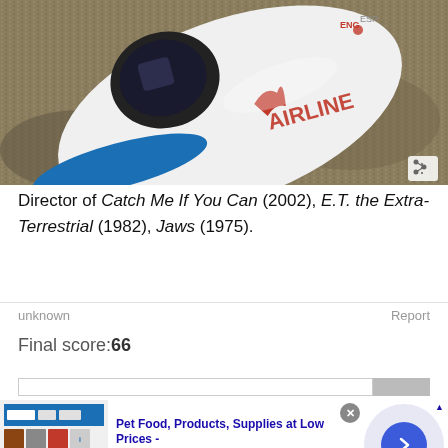[Figure (photo): Photo of a white toy vehicle (appears to be a toy ambulance or space vehicle) with red logo/text and blue accents, lying on a beige/tan carpet. A share icon is visible in the bottom right corner of the image.]
Director of Catch Me If You Can (2002), E.T. the Extra-Terrestrial (1982), Jaws (1975).
unknown
Report
Final score:66
[Figure (screenshot): Advertisement for Chewy.com: 'Pet Food, Products, Supplies at Low Prices - Pay the lowest prices on pet supplies at Chewy.com' with product images on the left and a blue arrow button on the right. A close button (x) is visible in the top right corner of the ad.]